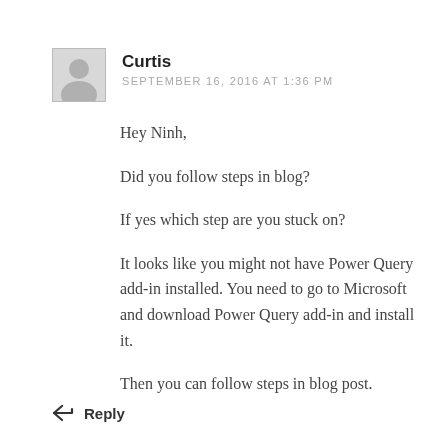[Figure (illustration): Gray avatar placeholder icon with silhouette of a person]
Curtis
SEPTEMBER 16, 2016 AT 1:36 PM
Hey Ninh,
Did you follow steps in blog?
If yes which step are you stuck on?
It looks like you might not have Power Query add-in installed. You need to go to Microsoft and download Power Query add-in and install it.
Then you can follow steps in blog post.
Reply